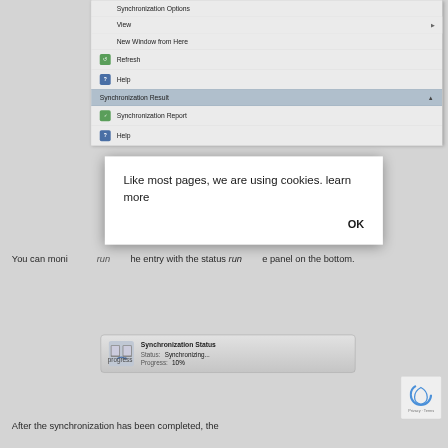[Figure (screenshot): Screenshot of a software context menu showing items: Synchronization Options, View (with submenu arrow), New Window from Here, Refresh (with green icon), Help (with blue icon), a section header 'Synchronization Result' (highlighted in blue-grey with up arrow), Synchronization Report (with green icon), Help (with blue icon). A cookie consent dialog overlays the menu reading 'Like most pages, we are using cookies. learn more' with an OK button. Below the menu is body text partially visible. A Synchronization Status panel shows Status: Synchronizing... Progress: 10%. A reCAPTCHA widget is visible in the bottom right.]
Like most pages, we are using cookies.  learn more
You can monitor the entry with the status running in the panel on the bottom.
After the synchronization has been completed, the